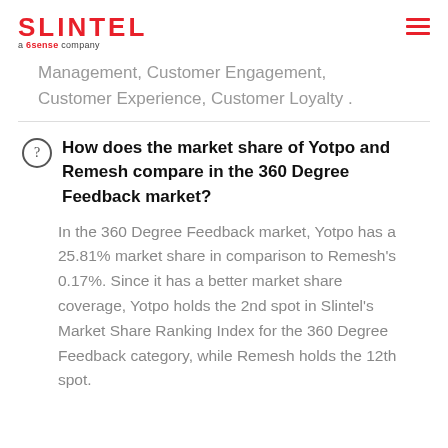SLINTEL a 6sense company
Management, Customer Engagement, Customer Experience, Customer Loyalty .
How does the market share of Yotpo and Remesh compare in the 360 Degree Feedback market?
In the 360 Degree Feedback market, Yotpo has a 25.81% market share in comparison to Remesh’s 0.17%. Since it has a better market share coverage, Yotpo holds the 2nd spot in Slintel’s Market Share Ranking Index for the 360 Degree Feedback category, while Remesh holds the 12th spot.